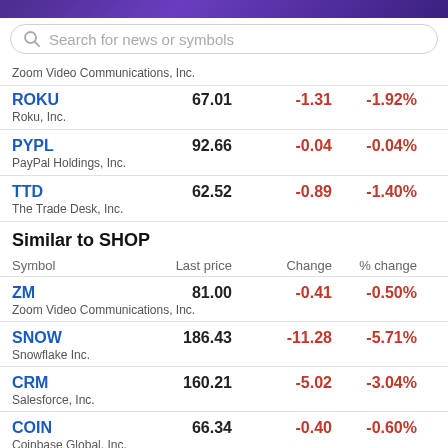[Figure (screenshot): Purple gradient header bar at top of app]
Search for news or symbols
Zoom Video Communications, Inc.
| Symbol | Last price | Change | % change |
| --- | --- | --- | --- |
| ROKU | 67.01 | -1.31 | -1.92% |
| Roku, Inc. |  |  |  |
| PYPL | 92.66 | -0.04 | -0.04% |
| PayPal Holdings, Inc. |  |  |  |
| TTD | 62.52 | -0.89 | -1.40% |
| The Trade Desk, Inc. |  |  |  |
Similar to SHOP
| Symbol | Last price | Change | % change |
| --- | --- | --- | --- |
| ZM | 81.00 | -0.41 | -0.50% |
| Zoom Video Communications, Inc. |  |  |  |
| SNOW | 186.43 | -11.28 | -5.71% |
| Snowflake Inc. |  |  |  |
| CRM | 160.21 | -5.02 | -3.04% |
| Salesforce, Inc. |  |  |  |
| COIN | 66.34 | -0.40 | -0.60% |
| Coinbase Global, Inc. |  |  |  |